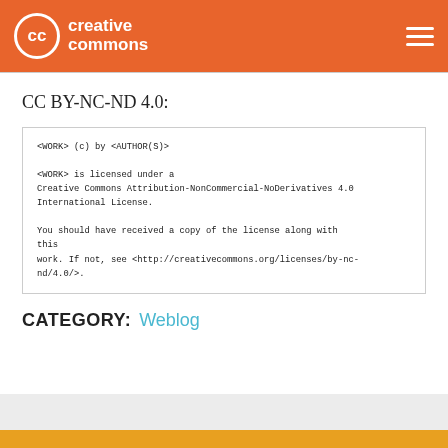Creative Commons
CC BY-NC-ND 4.0:
<WORK> (c) by <AUTHOR(S)>

<WORK> is licensed under a
Creative Commons Attribution-NonCommercial-NoDerivatives 4.0
International License.

You should have received a copy of the license along with this
work. If not, see <http://creativecommons.org/licenses/by-nc-nd/4.0/>.
CATEGORY: Weblog